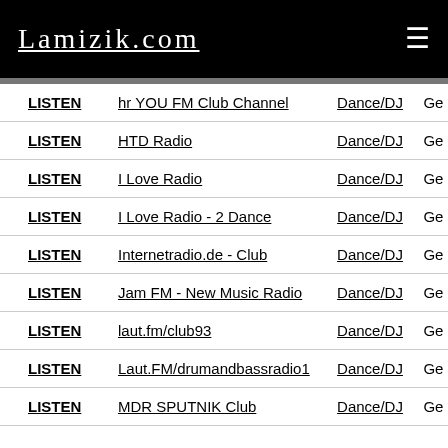Lamizik.com
| LISTEN | Station Name | Genre | Country |
| --- | --- | --- | --- |
| LISTEN | hr YOU FM Club Channel | Dance/DJ | Ge |
| LISTEN | HTD Radio | Dance/DJ | Ge |
| LISTEN | I Love Radio | Dance/DJ | Ge |
| LISTEN | I Love Radio - 2 Dance | Dance/DJ | Ge |
| LISTEN | Internetradio.de - Club | Dance/DJ | Ge |
| LISTEN | Jam FM - New Music Radio | Dance/DJ | Ge |
| LISTEN | laut.fm/club93 | Dance/DJ | Ge |
| LISTEN | Laut.FM/drumandbassradio1 | Dance/DJ | Ge |
| LISTEN | MDR SPUTNIK Club | Dance/DJ | Ge |